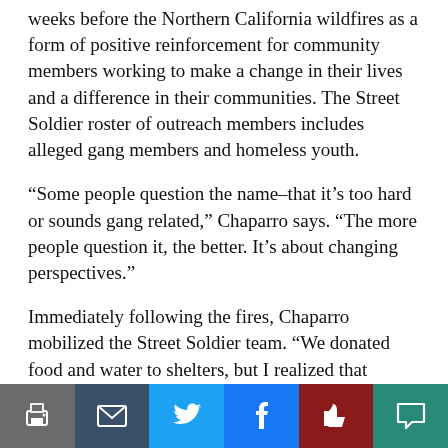weeks before the Northern California wildfires as a form of positive reinforcement for community members working to make a change in their lives and a difference in their communities. The Street Soldier roster of outreach members includes alleged gang members and homeless youth.
“Some people question the name–that it’s too hard or sounds gang related,” Chaparro says. “The more people question it, the better. It’s about changing perspectives.”
Immediately following the fires, Chaparro mobilized the Street Soldier team. “We donated food and water to shelters, but I realized that wasn’t enough,” Chaparro says.
[Figure (other): Social sharing toolbar with icons for print, email, Twitter, Facebook, like/thumbs-up, and comment]